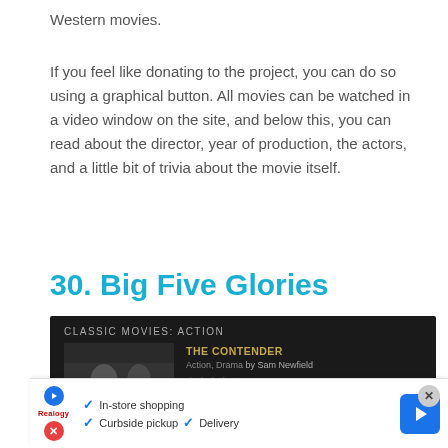Western movies.
If you feel like donating to the project, you can do so using a graphical button. All movies can be watched in a video window on the site, and below this, you can read about the director, year of production, the actors, and a little bit of trivia about the movie itself.
30. Big Five Glories
[Figure (screenshot): Screenshot of a classic movies website showing 'CLASSIC MOVIES: ACTION' header with a movie listing for 'THE CONTENDER' - Action, Drama by Sam Newfield, showing star rating, United States, 1944, 83min. Includes a black and white boxing scene thumbnail.]
[Figure (screenshot): Advertisement banner at the bottom showing store shopping options: In-store shopping, Curbside pickup, Delivery, with a blue navigation arrow button and a close X button.]